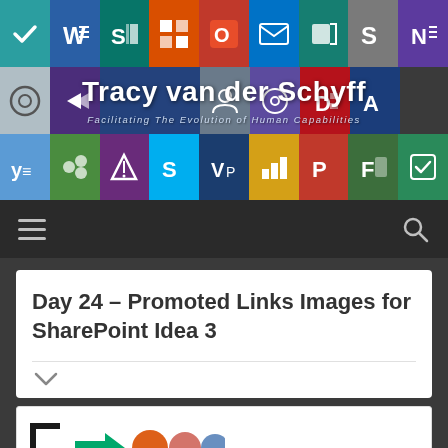[Figure (illustration): Header banner with Microsoft Office app icons arranged in a 3-row grid, with site title 'Tracy van der Schyff' and tagline 'Facilitating The Evolution of Human Capabilities' overlaid in white text]
Tracy van der Schyff
Facilitating The Evolution of Human Capabilities
Day 24 – Promoted Links Images for SharePoint Idea 3
[Figure (illustration): Partial SharePoint/Microsoft app icon visible at bottom of page]